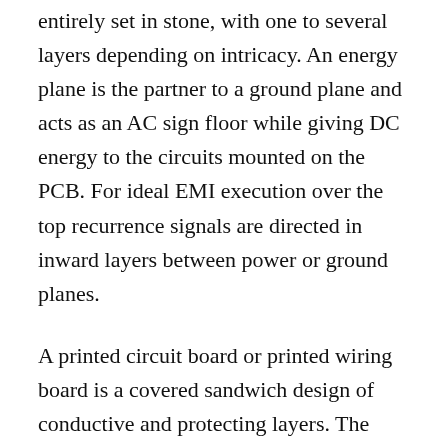entirely set in stone, with one to several layers depending on intricacy. An energy plane is the partner to a ground plane and acts as an AC sign floor while giving DC energy to the circuits mounted on the PCB. For ideal EMI execution over the top recurrence signals are directed in inward layers between power or ground planes.
A printed circuit board or printed wiring board is a covered sandwich design of conductive and protecting layers. The first is to join electronic components in assigned puts on the external layers through welding. The second is to supply dependable electrical associations between the component's terminals in a controlled technique once in a while called PCB plan.